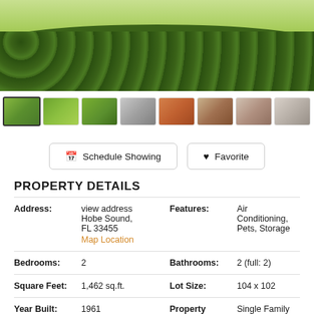[Figure (photo): Exterior photo of a house with a large dense green hedge in the foreground and lawn visible above]
[Figure (photo): Row of 8 thumbnail images showing various views of the property interior and exterior]
Schedule Showing
Favorite
PROPERTY DETAILS
| Field | Value | Field | Value |
| --- | --- | --- | --- |
| Address: | view address
Hobe Sound,
FL 33455
Map Location | Features: | Air Conditioning, Pets, Storage |
| Bedrooms: | 2 | Bathrooms: | 2 (full: 2) |
| Square Feet: | 1,462 sq.ft. | Lot Size: | 104 x 102 |
| Year Built: | 1961 | Property | Single Family |